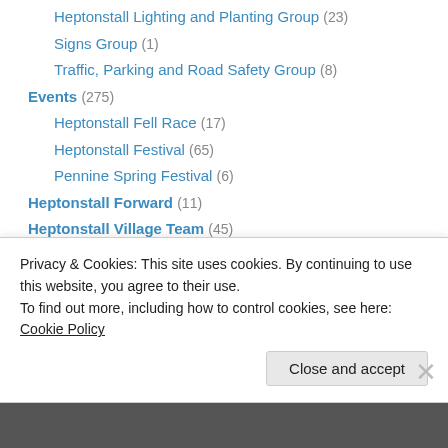Heptonstall Lighting and Planting Group (23)
Signs Group (1)
Traffic, Parking and Road Safety Group (8)
Events (275)
Heptonstall Fell Race (17)
Heptonstall Festival (65)
Pennine Spring Festival (6)
Heptonstall Forward (11)
Heptonstall Village Team (45)
Village Team Event Stories (1)
Village Team Past Events (7)
Village Team Upcoming Events (17)
Local Groups news (119)
Local history (7)
Privacy & Cookies: This site uses cookies. By continuing to use this website, you agree to their use. To find out more, including how to control cookies, see here: Cookie Policy
Close and accept